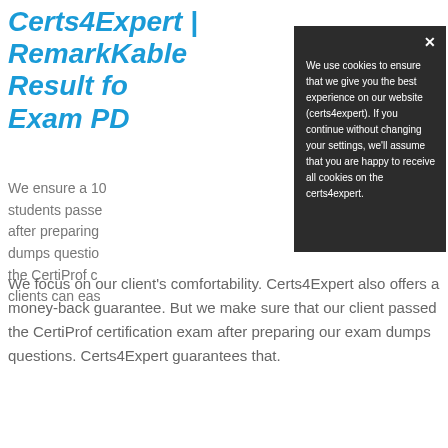Certs4Expert | RemarkKable Result fo... Exam PD...
We ensure a 10... students passe... after preparing... dumps questio... the CertiProf c... clients can eas...
[Figure (screenshot): Cookie consent modal popup with dark background. Close button (x) in top right. Text reads: We use cookies to ensure that we give you the best experience on our website (certs4expert). If you continue without changing your settings, we'll assume that you are happy to receive all cookies on the certs4expert.]
We focus on our client's comfortability. Certs4Expert also offers a money-back guarantee. But we make sure that our client passed the CertiProf certification exam after preparing our exam dumps questions. Certs4Expert guarantees that.